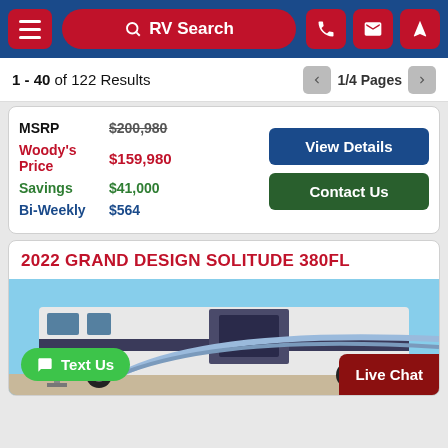RV Search navigation bar
1 - 40 of 122 Results   1/4 Pages
| Label | Value |
| --- | --- |
| MSRP | $200,980 |
| Woody's Price | $159,980 |
| Savings | $41,000 |
| Bi-Weekly | $564 |
View Details
Contact Us
2022 GRAND DESIGN SOLITUDE 380FL
[Figure (photo): Exterior photo of a 2022 Grand Design Solitude 380FL fifth-wheel RV, showing the front and side profile against a blue sky]
Text Us
Live Chat